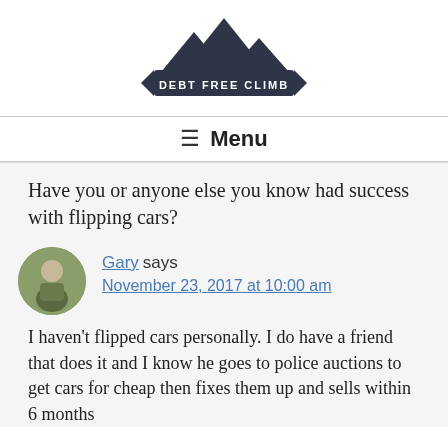[Figure (logo): Debt Free Climb logo — mountain silhouette with banner reading DEBT FREE CLIMB]
☰ Menu
Have you or anyone else you know had success with flipping cars?
Gary says
November 23, 2017 at 10:00 am
I haven't flipped cars personally. I do have a friend that does it and I know he goes to police auctions to get cars for cheap then fixes them up and sells within 6 months